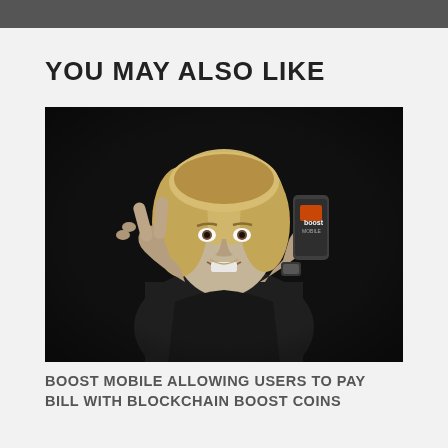YOU MAY ALSO LIKE
[Figure (photo): Black and white photo of a smiling blonde woman making a peace sign with one hand and holding a Boost Mobile smartphone in the other hand against a dark background.]
BOOST MOBILE ALLOWING USERS TO PAY BILL WITH BLOCKCHAIN BOOST COINS